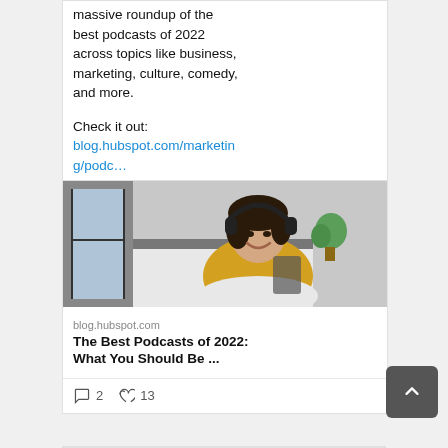massive roundup of the best podcasts of 2022 across topics like business, marketing, culture, comedy, and more.
Check it out:
blog.hubspot.com/marketing/podc…
[Figure (photo): Woman wearing black headphones and yellow shirt, smiling, seated indoors with a plant and window in background]
blog.hubspot.com
The Best Podcasts of 2022: What You Should Be ...
2  13